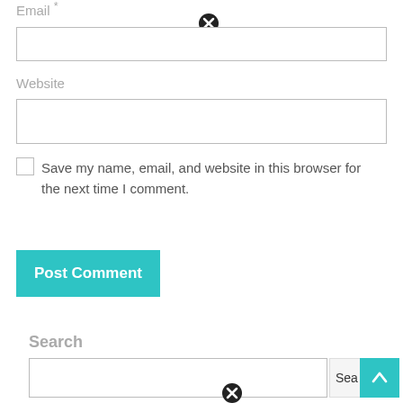Email *
[Figure (screenshot): Email input field with a close/error icon above it]
Website
[Figure (screenshot): Website input field]
Save my name, email, and website in this browser for the next time I comment.
[Figure (screenshot): Post Comment button in teal/cyan color]
Search
[Figure (screenshot): Search input field with Search button and teal arrow-up icon, close icon below]